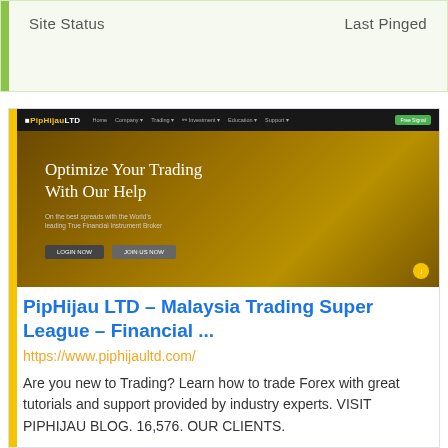| Site Status | Last Pinged |
| --- | --- |
[Figure (screenshot): Screenshot of PipHijau LTD website homepage showing a dark gold/brown hero section with text 'Optimize Your Trading With Our Help' and subtitle about best spreads with the World's leading True Financial Instrument Broker, with Login and Join Us Now buttons.]
PipHijau LTD – Malaysia Trading Super League – Financial ...
https://www.piphijaultd.com/
Are you new to Trading? Learn how to trade Forex with great tutorials and support provided by industry experts. VISIT PIPHIJAU BLOG. 16,576. OUR CLIENTS.